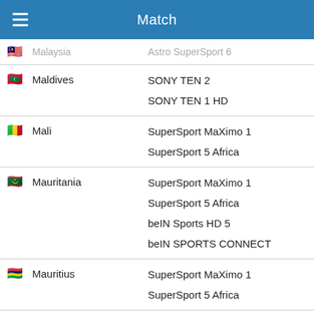Match
| Country | Channel |
| --- | --- |
| Malaysia | Astro SuperSport 6 |
| Maldives | SONY TEN 2
SONY TEN 1 HD |
| Mali | SuperSport MaXimo 1
SuperSport 5 Africa |
| Mauritania | SuperSport MaXimo 1
SuperSport 5 Africa
beIN Sports HD 5
beIN SPORTS CONNECT |
| Mauritius | SuperSport MaXimo 1
SuperSport 5 Africa |
| Mayotte | SuperSport MaXimo 1
SuperSport 5 Africa |
| Mexico | TUDN |